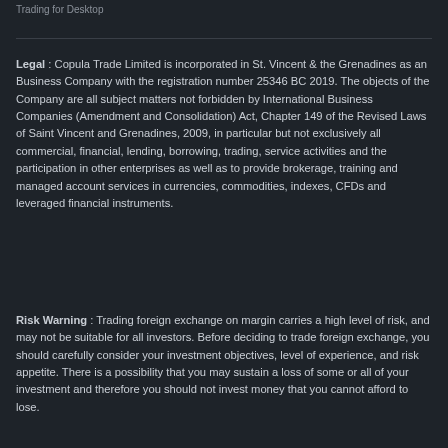Trading for Desktop
Legal : Copula Trade Limited is incorporated in St. Vincent & the Grenadines as an Business Company with the registration number 25346 BC 2019. The objects of the Company are all subject matters not forbidden by International Business Companies (Amendment and Consolidation) Act, Chapter 149 of the Revised Laws of Saint Vincent and Grenadines, 2009, in particular but not exclusively all commercial, financial, lending, borrowing, trading, service activities and the participation in other enterprises as well as to provide brokerage, training and managed account services in currencies, commodities, indexes, CFDs and leveraged financial instruments.
Risk Warning : Trading foreign exchange on margin carries a high level of risk, and may not be suitable for all investors. Before deciding to trade foreign exchange, you should carefully consider your investment objectives, level of experience, and risk appetite. There is a possibility that you may sustain a loss of some or all of your investment and therefore you should not invest money that you cannot afford to lose.